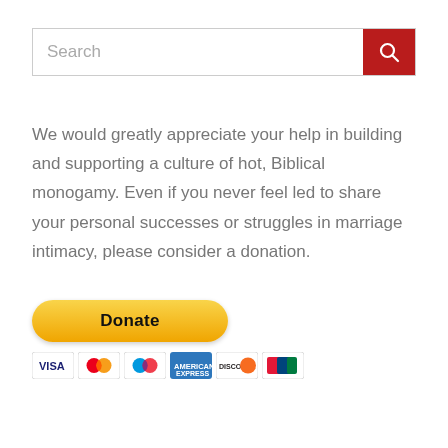[Figure (screenshot): Search bar with red search button containing a magnifying glass icon]
We would greatly appreciate your help in building and supporting a culture of hot, Biblical monogamy. Even if you never feel led to share your personal successes or struggles in marriage intimacy, please consider a donation.
[Figure (other): PayPal Donate button (yellow/gold rounded button) with payment card icons (VISA, Mastercard, Maestro, American Express, Discover, UnionPay) below]